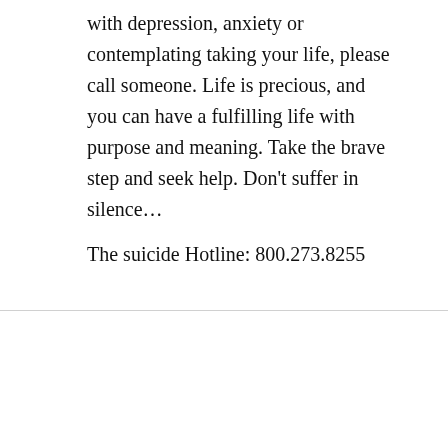with depression, anxiety or contemplating taking your life, please call someone. Life is precious, and you can have a fulfilling life with purpose and meaning. Take the brave step and seek help. Don't suffer in silence…
The suicide Hotline: 800.273.8255
#INSPIRATION
The Silence of Fear
JUNE 22, 2022 | JOHN HARRELL |